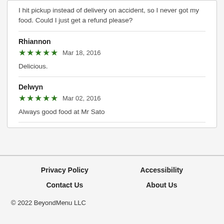I hit pickup instead of delivery on accident, so I never got my food. Could I just get a refund please?
Rhiannon
★★★★★  Mar 18, 2016
Delicious.
Delwyn
★★★★★  Mar 02, 2016
Always good food at Mr Sato
Privacy Policy    Accessibility
Contact Us    About Us
© 2022 BeyondMenu LLC